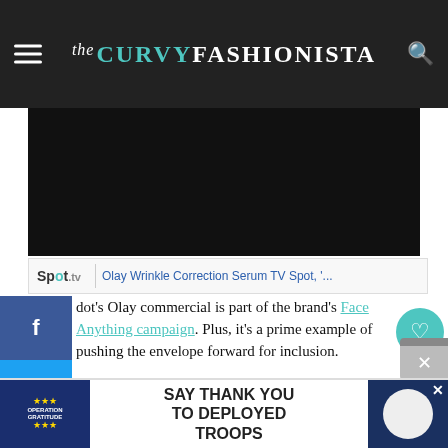the CURVY FASHIONISTA
[Figure (screenshot): Dark video embed area showing Olay Wrinkle Correction TV Spot on Spot.tv]
Spot.tv | Olay Wrinkle Correction Serum TV Spot, '...
dot’s Olay commercial is part of the brand’s Face Anything campaign. Plus, it’s a prime example of pushing the envelope forward for inclusion.
ore often than not, when we see plus size people in campaigns, its typically within the realm of fashion. Now that brands are paying attention to body positivity, it’s high time, we shift fat visibility into other industries.
[Figure (screenshot): Advertisement banner: Operation Gratitude - SAY THANK YOU TO DEPLOYED TROOPS]